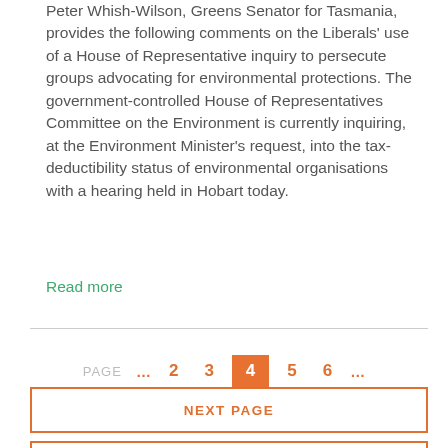Peter Whish-Wilson, Greens Senator for Tasmania, provides the following comments on the Liberals' use of a House of Representative inquiry to persecute groups advocating for environmental protections. The government-controlled House of Representatives Committee on the Environment is currently inquiring, at the Environment Minister's request, into the tax-deductibility status of environmental organisations with a hearing held in Hobart today.
Read more
PAGE ... 2 3 4 5 6 ...
NEXT PAGE
PREV PAGE